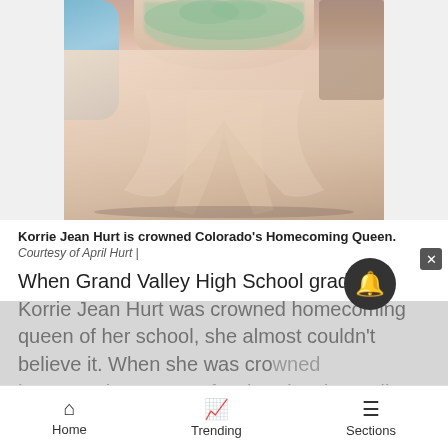[Figure (photo): A pink/blush ball gown with green lace embellishments displayed in what appears to be a store or dressing room. A blue dress is visible on the left side.]
Korrie Jean Hurt is crowned Colorado's Homecoming Queen. Courtesy of April Hurt |
When Grand Valley High School graduate Korrie Jean Hurt was crowned homecoming queen of her school, she almost couldn't believe it. When she was crowned homecoming queen of Colorado, she really couldn't.
Home   Trending   Sections